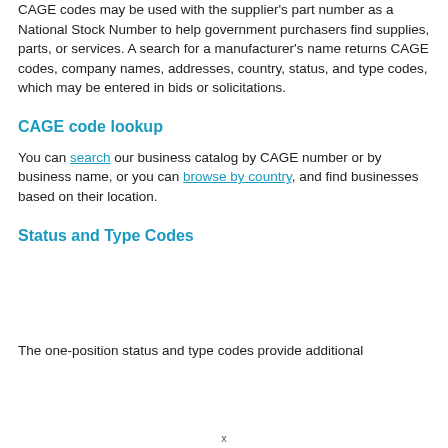CAGE codes may be used with the supplier's part number as a National Stock Number to help government purchasers find supplies, parts, or services. A search for a manufacturer's name returns CAGE codes, company names, addresses, country, status, and type codes, which may be entered in bids or solicitations.
CAGE code lookup
You can search our business catalog by CAGE number or by business name, or you can browse by country, and find businesses based on their location.
Status and Type Codes
The one-position status and type codes provide additional
x